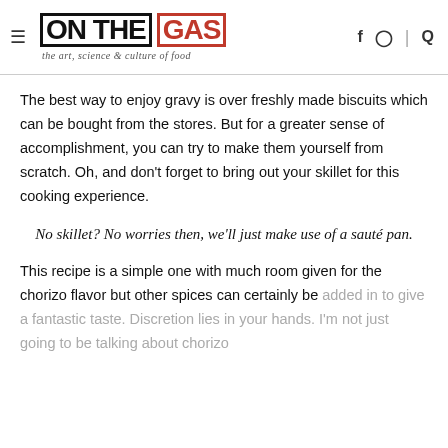ON THE GAS — the art, science & culture of food
The best way to enjoy gravy is over freshly made biscuits which can be bought from the stores. But for a greater sense of accomplishment, you can try to make them yourself from scratch. Oh, and don't forget to bring out your skillet for this cooking experience.
No skillet? No worries then, we'll just make use of a sauté pan.
This recipe is a simple one with much room given for the chorizo flavor but other spices can certainly be added in to give a fantastic taste. Discretion lies in your hands. I'm not just going to be talking about chorizo